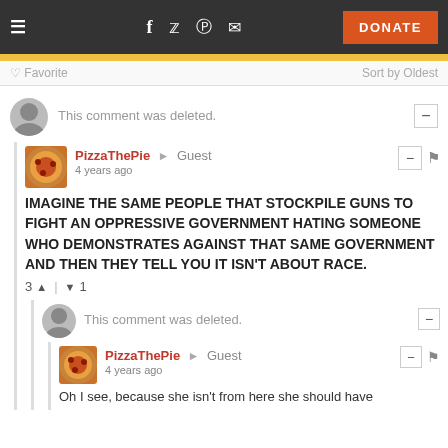Navigation bar with hamburger menu, social icons (Facebook, Twitter, Reddit, Email), and DONATE button
Favorite   Sort by Oldest
This comment was deleted.
PizzaThePie → Guest
4 years ago
IMAGINE THE SAME PEOPLE THAT STOCKPILE GUNS TO FIGHT AN OPPRESSIVE GOVERNMENT HATING SOMEONE WHO DEMONSTRATES AGAINST THAT SAME GOVERNMENT AND THEN THEY TELL YOU IT ISN'T ABOUT RACE.
3 ↑ | ↓ 1
This comment was deleted.
PizzaThePie → Guest
4 years ago
Oh I see, because she isn't from here she should have